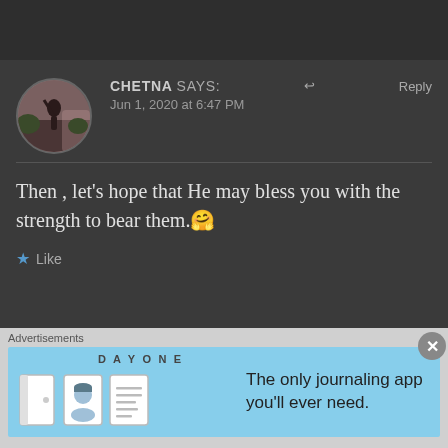CHETNA says: Jun 1, 2020 at 6:47 PM — Reply
Then , let’s hope that He may bless you with the strength to bear them.🤧
★ Like
DANEELYUNUS says: — Reply
Advertisements — DAY ONE — The only journaling app you'll ever need.